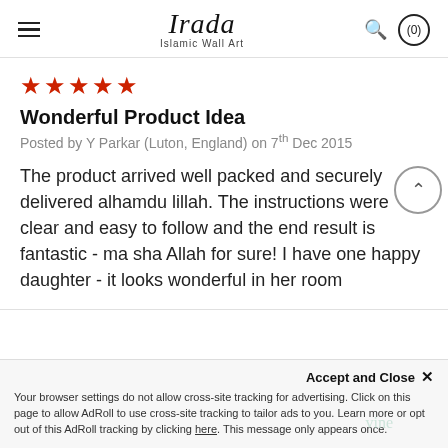Irada Islamic Wall Art
★★★★★
Wonderful Product Idea
Posted by Y Parkar (Luton, England) on 7th Dec 2015
The product arrived well packed and securely delivered alhamdu lillah. The instructions were clear and easy to follow and the end result is fantastic - ma sha Allah for sure! I have one happy daughter - it looks wonderful in her room
Accept and Close ×
Your browser settings do not allow cross-site tracking for advertising. Click on this page to allow AdRoll to use cross-site tracking to tailor ads to you. Learn more or opt out of this AdRoll tracking by clicking here. This message only appears once.